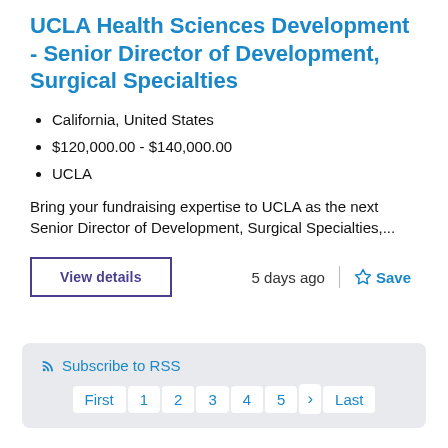UCLA Health Sciences Development - Senior Director of Development, Surgical Specialties
California, United States
$120,000.00 - $140,000.00
UCLA
Bring your fundraising expertise to UCLA as the next Senior Director of Development, Surgical Specialties,...
View details
5 days ago
Save
Subscribe to RSS
First 1 2 3 4 5 > Last